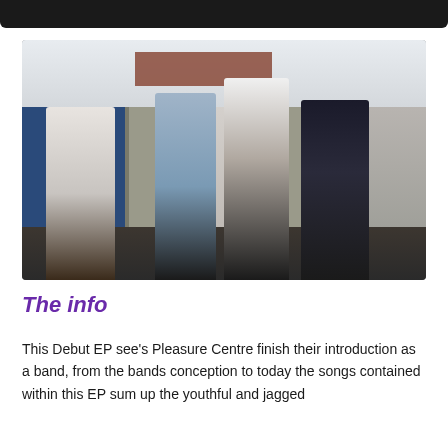[Figure (photo): Four band members standing in front of garage doors. Left: person in white racing jumpsuit. Center-left: person in blue jumpsuit. Center-right: woman in white top and grey trousers. Right: person in black and red track jacket. Graffiti visible on right wall.]
The info
This Debut EP see's Pleasure Centre finish their introduction as a band, from the bands conception to today the songs contained within this EP sum up the youthful and jagged